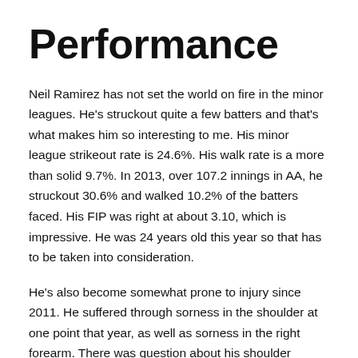Performance
Neil Ramirez has not set the world on fire in the minor leagues. He's struckout quite a few batters and that's what makes him so interesting to me. His minor league strikeout rate is 24.6%. His walk rate is a more than solid 9.7%. In 2013, over 107.2 innings in AA, he struckout 30.6% and walked 10.2% of the batters faced. His FIP was right at about 3.10, which is impressive. He was 24 years old this year so that has to be taken into consideration.
He's also become somewhat prone to injury since 2011. He suffered through sorness in the shoulder at one point that year, as well as sorness in the right forearm. There was question about his shoulder before the Cubs acquired him this season, but it's safe to say the Cubs would have checked his medical history and felt comfortable with what they were getting. That